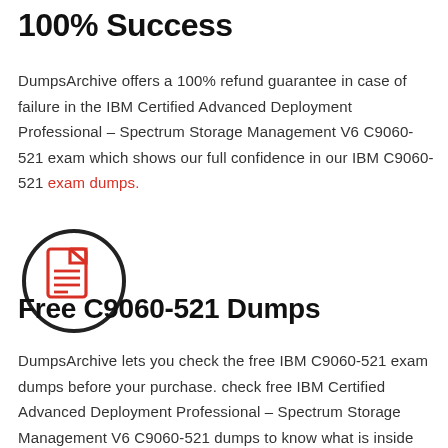100% Success
DumpsArchive offers a 100% refund guarantee in case of failure in the IBM Certified Advanced Deployment Professional – Spectrum Storage Management V6 C9060-521 exam which shows our full confidence in our IBM C9060-521 exam dumps.
[Figure (illustration): A document/file icon with red lines inside, enclosed in a dark circle outline]
Free C9060-521 Dumps
DumpsArchive lets you check the free IBM C9060-521 exam dumps before your purchase. check free IBM Certified Advanced Deployment Professional – Spectrum Storage Management V6 C9060-521 dumps to know what is inside the full actual product.